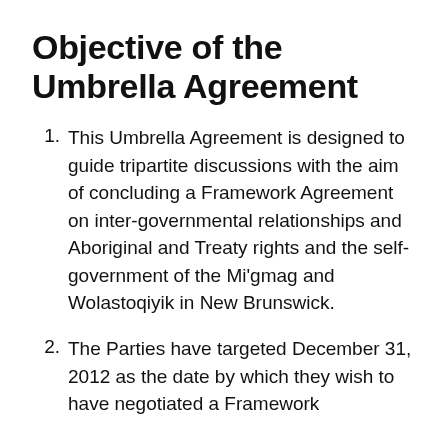Objective of the Umbrella Agreement
This Umbrella Agreement is designed to guide tripartite discussions with the aim of concluding a Framework Agreement on inter-governmental relationships and Aboriginal and Treaty rights and the self-government of the Mi'gmag and Wolastoqiyik in New Brunswick.
The Parties have targeted December 31, 2012 as the date by which they wish to have negotiated a Framework